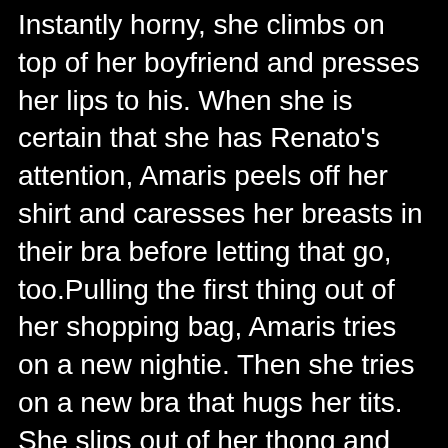Instantly horny, she climbs on top of her boyfriend and presses her lips to his. When she is certain that she has Renato's attention, Amaris peels off her shirt and caresses her breasts in their bra before letting that go, too.Pulling the first thing out of her shopping bag, Amaris tries on a new nightie. Then she tries on a new bra that hugs her tits. She slips out of her thong and puts on the matching underwear. Now that she is wearing her brand new outfit, Amaris pops Renato's stiffie from where it's straining against the fly of his jeans and slips it between her lips. She's all smiles as she sucks him off, enjoying every draw of her mouth against the velvet steel of Renato's erection.Renato isn't about to let Amaris have all